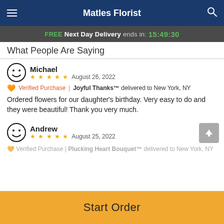Matles Florist
FREE Next Day Delivery ends in: 15:49:30
What People Are Saying
Michael
★★★★★ August 26, 2022
Verified Purchase | Joyful Thanks™ delivered to New York, NY
Ordered flowers for our daughter's birthday. Very easy to do and they were beautiful! Thank you very much.
Andrew
★★★★★ August 25, 2022
Verified Purchase | Plucking Heart Bouquet™ delivered to New York, NY
Start Order